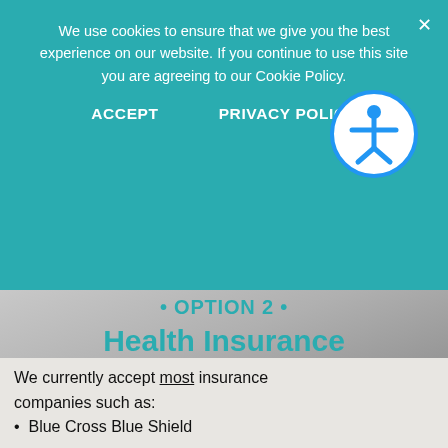We use cookies to ensure that we give you the best experience on our website. If you continue to use this site you are agreeing to our Cookie Policy.
ACCEPT   PRIVACY POLICY
• OPTION 2 •
Health Insurance
We currently accept most insurance companies such as:
Blue Cross Blue Shield